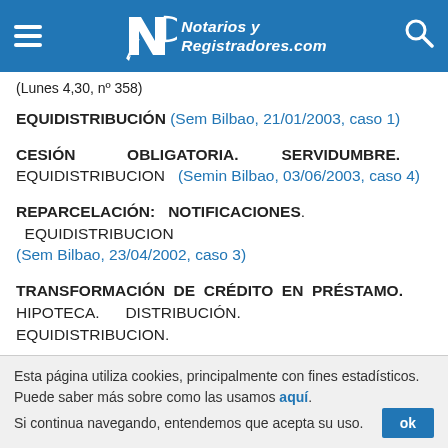Notarios y Registradores.com
(Lunes 4,30, nº 358)
EQUIDISTRIBUCIÓN (Sem Bilbao, 21/01/2003, caso 1)
CESIÓN OBLIGATORIA. SERVIDUMBRE. EQUIDISTRIBUCION (Semin Bilbao, 03/06/2003, caso 4)
REPARCELACIÓN: NOTIFICACIONES. EQUIDISTRIBUCION (Sem Bilbao, 23/04/2002, caso 3)
TRANSFORMACIÓN DE CRÉDITO EN PRÉSTAMO. HIPOTECA. DISTRIBUCIÓN. EQUIDISTRIBUCION.
Esta página utiliza cookies, principalmente con fines estadísticos. Puede saber más sobre como las usamos aquí. Si continua navegando, entendemos que acepta su uso.